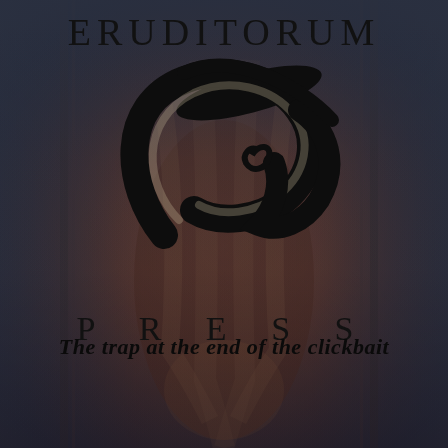[Figure (illustration): Book cover with dark reddish-brown fantasy background illustration showing a figure with long hair in a gothic/fantasy setting with vertical architectural elements]
ERUDITORUM
[Figure (logo): Eruditorum Press stylized EP calligraphic logo in black]
PRESS
The trap at the end of the clickbait